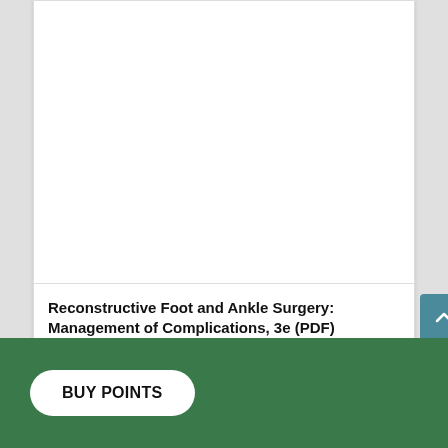[Figure (photo): White blank area representing a book cover image placeholder]
Reconstructive Foot and Ankle Surgery: Management of Complications, 3e (PDF)
Googali
04/07/2018  $226.7  $25
BUY POINTS